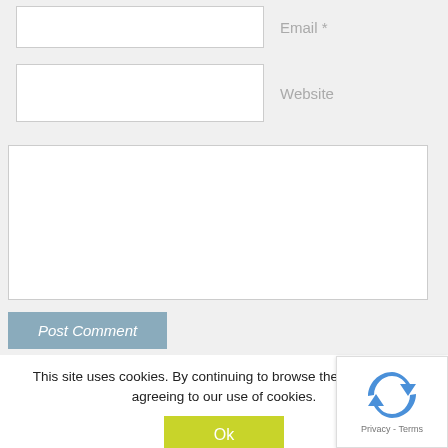Email *
Website
Post Comment
This site uses cookies. By continuing to browse the site, you are agreeing to our use of cookies.
Ok
[Figure (logo): reCAPTCHA logo with recycling arrow icon and Privacy - Terms text]